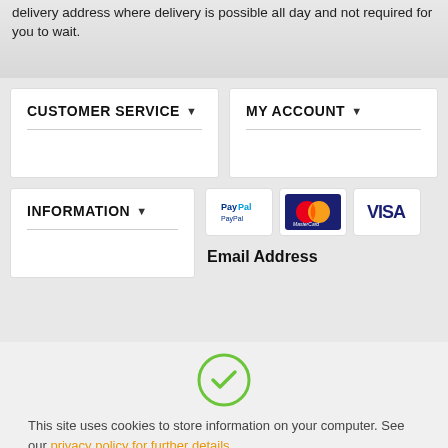delivery address where delivery is possible all day and not required for you to wait.
CUSTOMER SERVICE ▾
MY ACCOUNT ▾
INFORMATION ▾
[Figure (logo): PayPal payment icon]
[Figure (logo): MasterCard payment icon]
[Figure (logo): VISA payment icon]
Email Address
[Figure (other): Green circle checkmark icon]
This site uses cookies to store information on your computer. See our privacy policy for further details.
Ok, Got It!